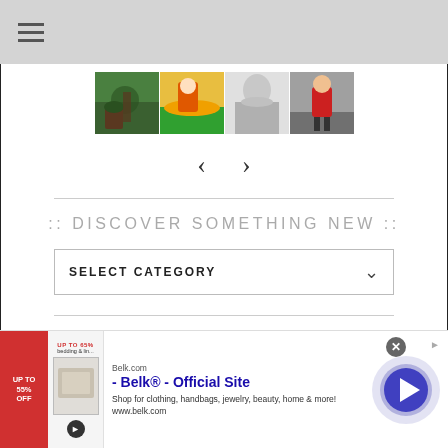[Figure (screenshot): Top navigation bar with hamburger menu icon (three horizontal lines)]
[Figure (photo): Row of four thumbnail photos: person in greenery, person in orange life jacket kayaking, woman's neck/shoulder black and white, person in red shirt walking]
[Figure (illustration): Left and right navigation arrows (< >) for carousel]
:: DISCOVER SOMETHING NEW ::
[Figure (screenshot): Dropdown selector labeled SELECT CATEGORY with chevron down arrow]
[Figure (screenshot): Advertisement banner: Belk.com - Belk® - Official Site. Shop for clothing, handbags, jewelry, beauty, home & more! www.belk.com]